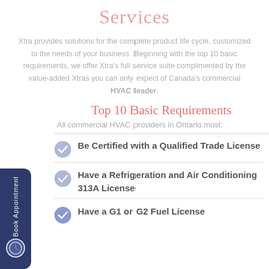Services
Xtra provides solutions for the complete product life cycle, customized to the needs of your business. Beginning with the top 10 basic requirements, we offer Xtra's full service suite complimented by the value-added Xtras you can only expect of Canada's commercial HVAC leader.
Top 10 Basic Requirements
All commercial HVAC providers in Ontario must:
Be Certified with a Qualified Trade License
Have a Refrigeration and Air Conditioning 313A License
Have a G1 or G2 Fuel License